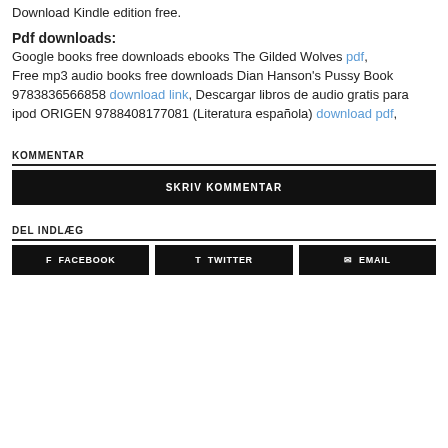Download Kindle edition free.
Pdf downloads:
Google books free downloads ebooks The Gilded Wolves pdf, Free mp3 audio books free downloads Dian Hanson's Pussy Book 9783836566858 download link, Descargar libros de audio gratis para ipod ORIGEN 9788408177081 (Literatura española) download pdf,
KOMMENTAR
SKRIV KOMMENTAR
DEL INDLÆG
FACEBOOK
TWITTER
EMAIL